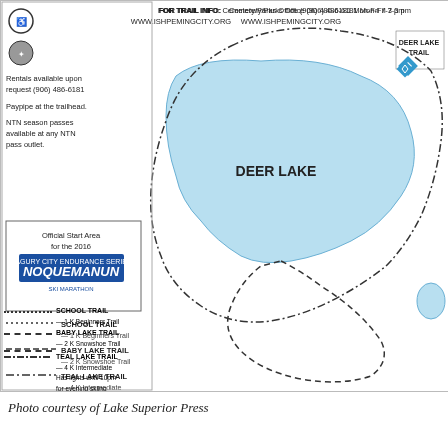[Figure (map): Trail map of Ishpeming, MI showing Deer Lake, Baby Lake, Little Lake, school trail, baby lake trail, teal lake trail, olympic trail, deer lake trail with legend. Includes north arrow, parking markers, lodge markers, and trail lines in various dash patterns.]
FOR TRAIL INFO: Cemetery/Parks Office (906) 486-6181 Mon-Fri 7-3 pm
WWW.ISHPEMINGCITY.ORG
Rentals available upon request (906) 486-6181
Paypipe at the trailhead.
NTN season passes available at any NTN pass outlet.
Official Start Area for the 2016 NOQUEMANON SKI MARATHON
DEER LAKE TRAIL
BABY LAKE TRAIL
NORTH
DEER LAKE
LITTLE LAKE
BABY LAKE
LODGE
SCHOOL TRAIL
.......... SCHOOL TRAIL — 1 K Beginners Trail
------- BABY LAKE TRAIL — 2 K Snowshoe Trail
-·-·-·- TEAL LAKE TRAIL — 4 K Intermediate Has lights until 10pm for evening skiing
– – – OLYMPIC TRAIL — 5 K Advanced
·-·-·-· DEER LAKE TRAIL — 7.5 K Advanced
Photo courtesy of Lake Superior Press